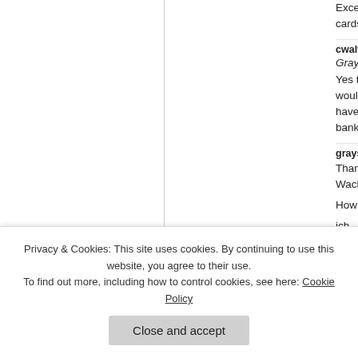Excellent. Do cards?
cwaltz, on De
Grays Lady
Yes they do. would ever ge have had wa bank(Wachov
grayslady, on
Thanks, cwal Wachovia.
How did you
ich liv
ts
I've been with
Privacy & Cookies: This site uses cookies. By continuing to use this website, you agree to their use. To find out more, including how to control cookies, see here: Cookie Policy
Close and accept